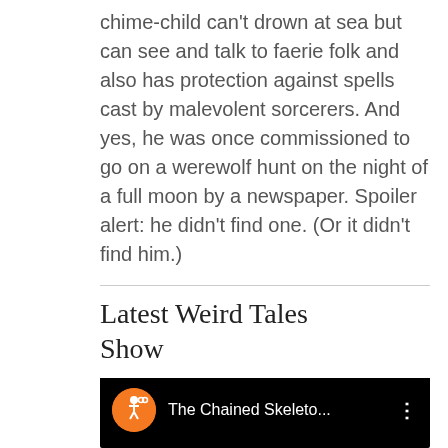chime-child can't drown at sea but can see and talk to faerie folk and also has protection against spells cast by malevolent sorcerers. And yes, he was once commissioned to go on a werewolf hunt on the night of a full moon by a newspaper. Spoiler alert: he didn't find one. (Or it didn't find him.)
Latest Weird Tales Show
[Figure (screenshot): YouTube video embed showing 'The Chained Skeleto...' with an orange circular channel icon featuring a skeleton figure, on a black background with a three-dot menu icon.]